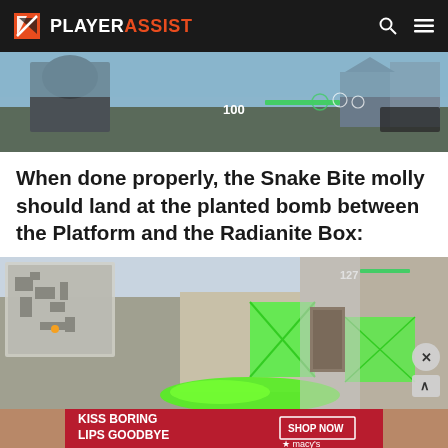PLAYER ASSIST
[Figure (screenshot): First-person shooter game screenshot showing player view with HUD elements including health bar showing 100]
When done properly, the Snake Bite molly should land at the planted bomb between the Platform and the Radianite Box:
[Figure (screenshot): Game screenshot showing green molly/incendiary explosion at a bomb site with a minimap in the top left and green glowing boxes in the scene]
[Figure (screenshot): Advertisement banner for Macy's reading KISS BORING LIPS GOODBYE with SHOP NOW button and Macy's star logo]